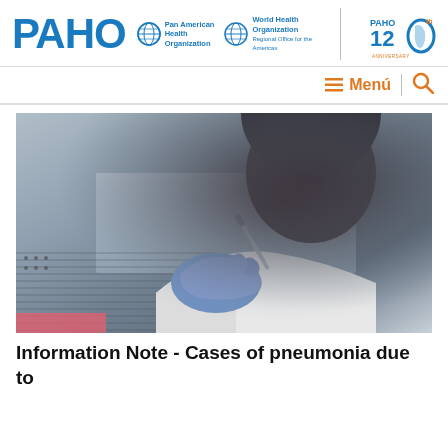[Figure (logo): PAHO Pan American Health Organization / WHO World Health Organization logo with PAHO 120th Anniversary graphic]
[Figure (photo): Laboratory worker in white coat and blue gloves holding a pipette or instrument at a biosafety cabinet]
Information Note - Cases of pneumonia due to